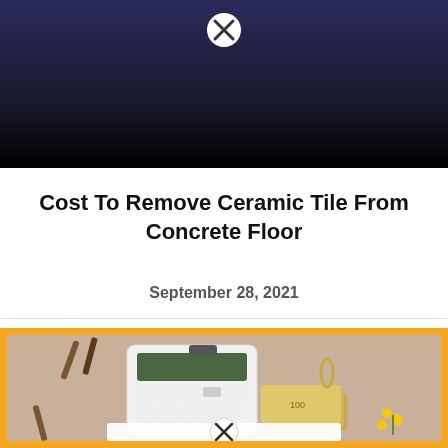[Figure (photo): Dark blue/black gradient background with a white circular close (X) button at top center]
Cost To Remove Ceramic Tile From Concrete Floor
September 28, 2021
[Figure (photo): Photo of a white calculator, pencils, US dollar bills, yellow flowers, and paper clips on a beige background, framed with a yellow/orange border. A white circular close (X) button appears at the bottom center.]